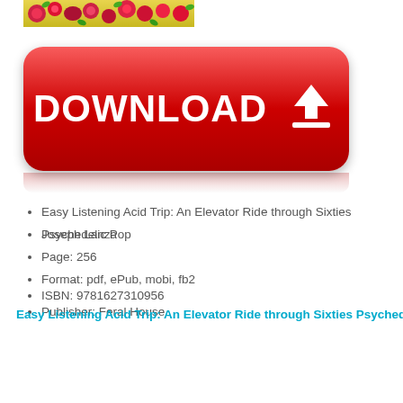[Figure (illustration): Decorative floral/folk art pattern banner in red, pink, green colors at top of page]
[Figure (illustration): Red rounded-rectangle download button with white bold text 'DOWNLOAD' and a white downward arrow/download icon, with a faint reflection below]
Easy Listening Acid Trip: An Elevator Ride through Sixties Psychedelic Pop
Joseph Lanza
Page: 256
Format: pdf, ePub, mobi, fb2
ISBN: 9781627310956
Publisher: Feral House
Easy Listening Acid Trip: An Elevator Ride through Sixties Psychedelic Po